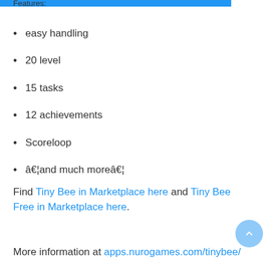Features:
easy handling
20 level
15 tasks
12 achievements
Scoreloop
…and much more…
Find Tiny Bee in Marketplace here and Tiny Bee Free in Marketplace here.
More information at apps.nurogames.com/tinybee/